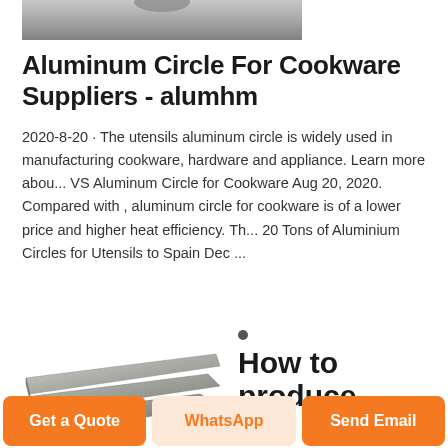[Figure (photo): Top portion of a product photo showing aluminum circles/cookware, cropped at the top]
Aluminum Circle For Cookware Suppliers - alumhm
2020-8-20 · The utensils aluminum circle is widely used in manufacturing cookware, hardware and appliance. Learn more abou... VS Aluminum Circle for Cookware Aug 20, 2020. Compared with , aluminum circle for cookware is of a lower price and higher heat efficiency. Th... 20 Tons of Aluminium Circles for Utensils to Spain Dec ...
[Figure (photo): Photo of stacked aluminum sheets/plates shown at an angle]
How to produce
Get a Quote    WhatsApp    Send Email